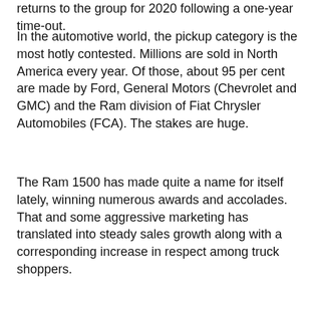returns to the group for 2020 following a one-year time-out.
In the automotive world, the pickup category is the most hotly contested. Millions are sold in North America every year. Of those, about 95 per cent are made by Ford, General Motors (Chevrolet and GMC) and the Ram division of Fiat Chrysler Automobiles (FCA). The stakes are huge.
The Ram 1500 has made quite a name for itself lately, winning numerous awards and accolades. That and some aggressive marketing has translated into steady sales growth along with a corresponding increase in respect among truck shoppers.
[Figure (other): Black navigation bar with back-to-top button (grey circle with upward arrow) and an advertisement banner showing a child on a BMX bike with text 'Kids Bikes']